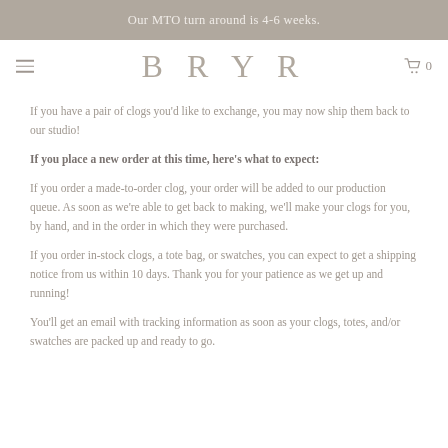Our MTO turn around is 4-6 weeks.
BRYR
If you have a pair of clogs you'd like to exchange, you may now ship them back to our studio!
If you place a new order at this time, here's what to expect:
If you order a made-to-order clog, your order will be added to our production queue. As soon as we're able to get back to making, we'll make your clogs for you, by hand, and in the order in which they were purchased.
If you order in-stock clogs, a tote bag, or swatches, you can expect to get a shipping notice from us within 10 days. Thank you for your patience as we get up and running!
You'll get an email with tracking information as soon as your clogs, totes, and/or swatches are packed up and ready to go.